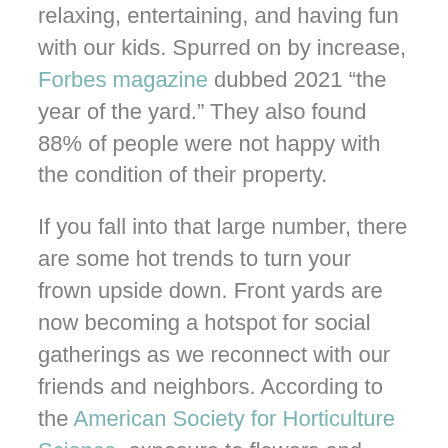relaxing, entertaining, and having fun with our kids. Spurred on by increase, Forbes magazine dubbed 2021 “the year of the yard.” They also found 88% of people were not happy with the condition of their property.
If you fall into that large number, there are some hot trends to turn your frown upside down. Front yards are now becoming a hotspot for social gatherings as we reconnect with our friends and neighbors. According to the American Society for Horticulture Science, exposure to flowers and plants can lower blood pressure, lower the heart rate, and reduce pain.
So here are the trends that are sure to get the...